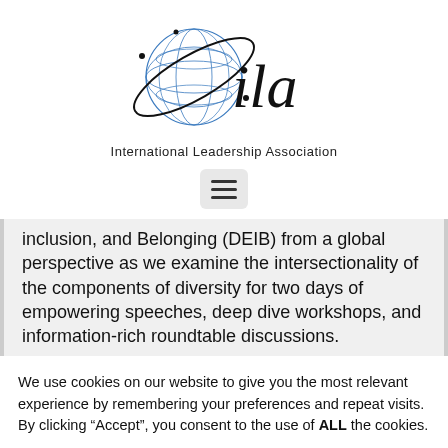[Figure (logo): ILA International Leadership Association logo — globe with orbital rings and cursive 'ila' text, with 'International Leadership Association' below]
[Figure (other): Hamburger menu button (three horizontal lines) in a rounded rectangle]
inclusion, and Belonging (DEIB) from a global perspective as we examine the intersectionality of the components of diversity for two days of empowering speeches, deep dive workshops, and information-rich roundtable discussions.
We use cookies on our website to give you the most relevant experience by remembering your preferences and repeat visits. By clicking “Accept”, you consent to the use of ALL the cookies.
Cookie settings
ACCEPT